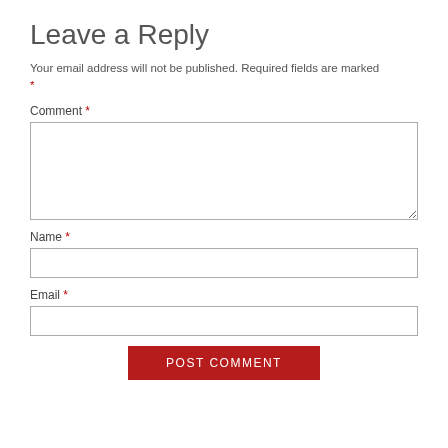Leave a Reply
Your email address will not be published. Required fields are marked *
Comment *
Name *
Email *
POST COMMENT